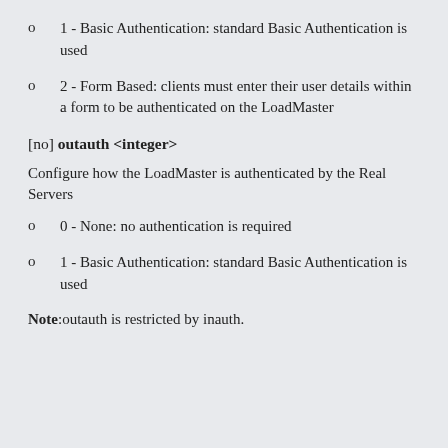1 - Basic Authentication: standard Basic Authentication is used
2 - Form Based: clients must enter their user details within a form to be authenticated on the LoadMaster
[no] outauth <integer>
Configure how the LoadMaster is authenticated by the Real Servers
0 - None: no authentication is required
1 - Basic Authentication: standard Basic Authentication is used
Note:outauth is restricted by inauth.